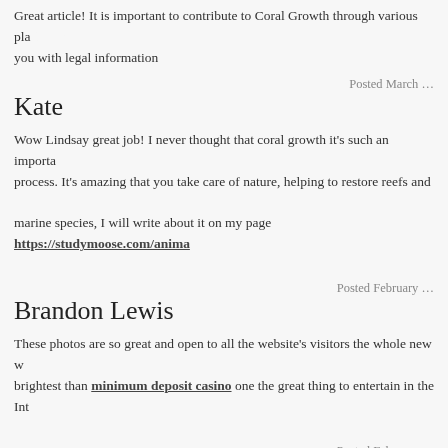Great article! It is important to contribute to Coral Growth through various platforms. you with legal information
Posted March …
Kate
Wow Lindsay great job! I never thought that coral growth it's such an important process. It's amazing that you take care of nature, helping to restore reefs and marine species, I will write about it on my page https://studymoose.com/anima…
Posted February …
Brandon Lewis
These photos are so great and open to all the website's visitors the whole new w… brightest than minimum deposit casino one the great thing to entertain in the Int…
Posted February …
hscode
this is really amazing trick to do coral gardening and hsCode Solution has star… further development of this.